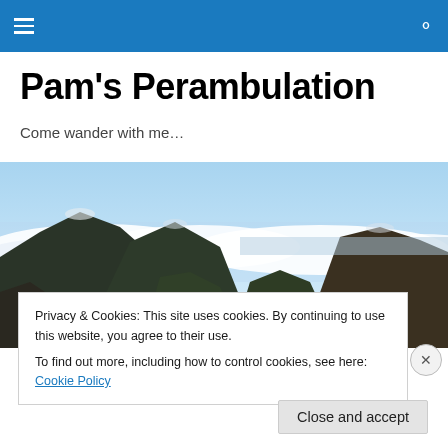Navigation bar with hamburger menu and search icon
Pam's Perambulation
Come wander with me…
[Figure (photo): Aerial mountain landscape with clouds below peaks and blue sky]
Privacy & Cookies: This site uses cookies. By continuing to use this website, you agree to their use.
To find out more, including how to control cookies, see here: Cookie Policy
Close and accept